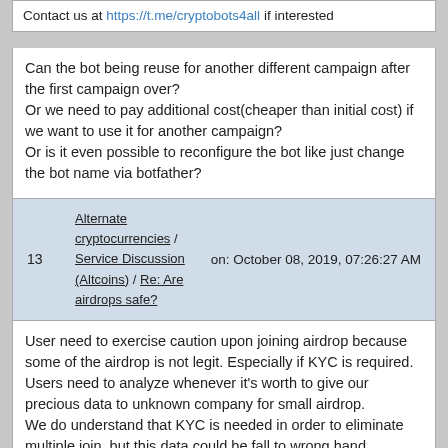Contact us at https://t.me/cryptobots4all if interested
Can the bot being reuse for another different campaign after the first campaign over?
Or we need to pay additional cost(cheaper than initial cost) if we want to use it for another campaign?
Or is it even possible to reconfigure the bot like just change the bot name via botfather?
13  Alternate cryptocurrencies / Service Discussion (Altcoins) / Re: Are airdrops safe?  on: October 08, 2019, 07:26:27 AM
User need to exercise caution upon joining airdrop because some of the airdrop is not legit. Especially if KYC is required.
Users need to analyze whenever it's worth to give our precious data to unknown company for small airdrop.
We do understand that KYC is needed in order to eliminate multiple join, but this data could be fall to wrong hand.
Alternate